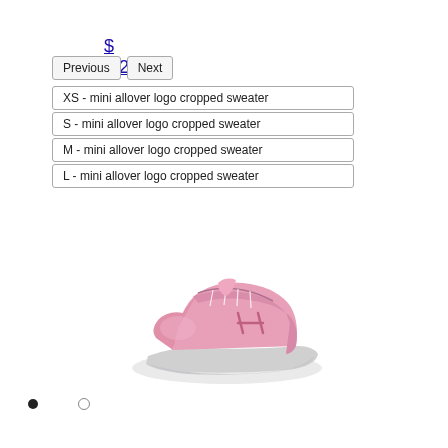$ 1,290
Previous
Next
XS - mini allover logo cropped sweater
S - mini allover logo cropped sweater
M - mini allover logo cropped sweater
L - mini allover logo cropped sweater
[Figure (photo): Pink sneaker / athletic shoe with white chunky sole, viewed from the side]
• ○